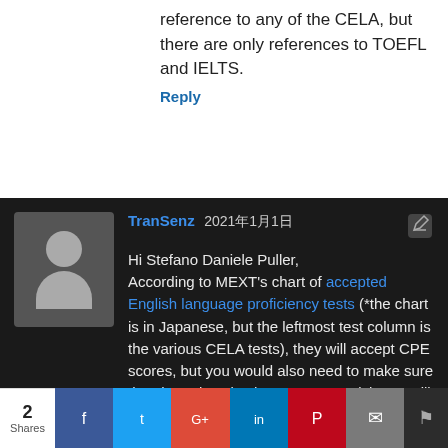reference to any of the CELA, but there are only references to TOEFL and IELTS.
Reply
TranSenz 2021年1月1日 Hi Stefano Daniele Puller, According to MEXT's chart of accepted English language proficiency tests (*the chart is in Japanese, but the leftmost test column is the various CELA tests), they will accept CPE scores, but you would also need to make sure that the university that you are applying to will accept them. If you are applying for the
2 Shares  f  t  G+  in  P  mail  bookmark